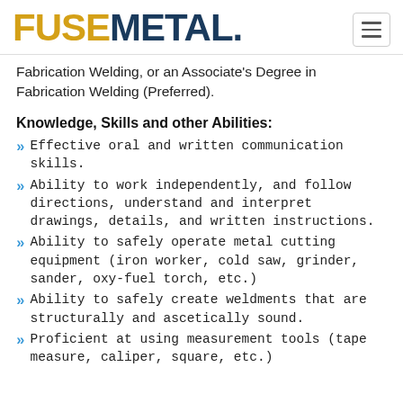[Figure (logo): FUSEMETAL. logo with gold/yellow 'FUSE' and dark navy 'METAL.' text]
Fabrication Welding, or an Associate's Degree in Fabrication Welding (Preferred).
Knowledge, Skills and other Abilities:
Effective oral and written communication skills.
Ability to work independently, and follow directions, understand and interpret drawings, details, and written instructions.
Ability to safely operate metal cutting equipment (iron worker, cold saw, grinder, sander, oxy-fuel torch, etc.)
Ability to safely create weldments that are structurally and ascetically sound.
Proficient at using measurement tools (tape measure, caliper, square, etc.)